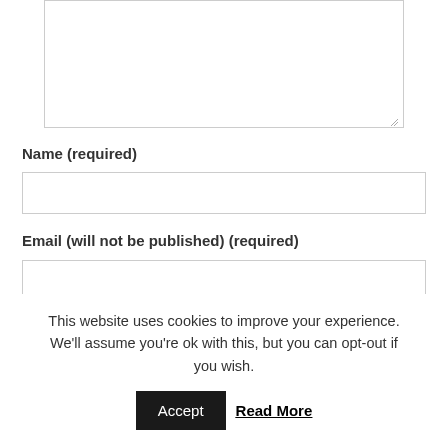[Figure (screenshot): Textarea input field with resize handle in bottom-right corner]
Name (required)
[Figure (screenshot): Name input text field]
Email (will not be published) (required)
[Figure (screenshot): Email input text field]
Website
[Figure (screenshot): Website input text field (partially visible)]
This website uses cookies to improve your experience. We'll assume you're ok with this, but you can opt-out if you wish.
Accept
Read More